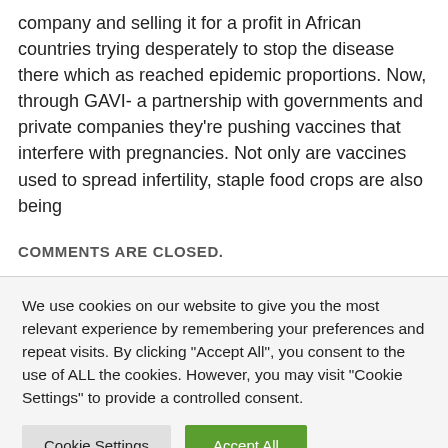company and selling it for a profit in African countries trying desperately to stop the disease there which as reached epidemic proportions. Now, through GAVI- a partnership with governments and private companies they're pushing vaccines that interfere with pregnancies. Not only are vaccines used to spread infertility, staple food crops are also being
COMMENTS ARE CLOSED.
We use cookies on our website to give you the most relevant experience by remembering your preferences and repeat visits. By clicking "Accept All", you consent to the use of ALL the cookies. However, you may visit "Cookie Settings" to provide a controlled consent.